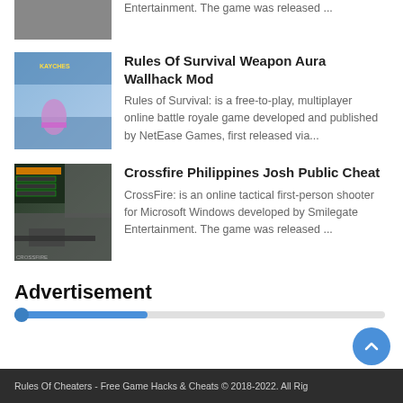Entertainment. The game was released ...
Rules Of Survival Weapon Aura Wallhack Mod
Rules of Survival: is a free-to-play, multiplayer online battle royale game developed and published by NetEase Games, first released via...
Crossfire Philippines Josh Public Cheat
CrossFire: is an online tactical first-person shooter for Microsoft Windows developed by Smilegate Entertainment. The game was released ...
Advertisement
Rules Of Cheaters - Free Game Hacks & Cheats © 2018-2022. All Rig